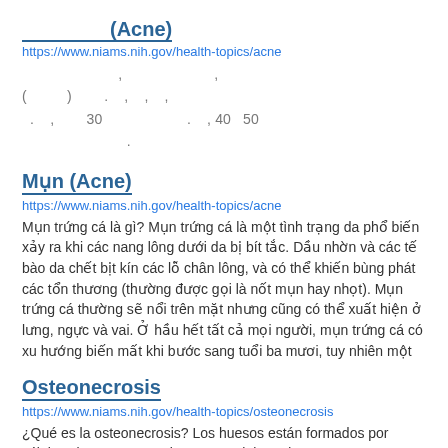__________(Acne)
https://www.niams.nih.gov/health-topics/acne
( )   30   , 40 50 .
Mụn (Acne)
https://www.niams.nih.gov/health-topics/acne
Mụn trứng cá là gì? Mụn trứng cá là một tình trạng da phổ biến xảy ra khi các nang lông dưới da bị bít tắc. Dầu nhờn và các tế bào da chết bịt kín các lỗ chân lông, và có thể khiến bùng phát các tổn thương (thường được gọi là nốt mụn hay nhọt). Mụn trứng cá thường sẽ nổi trên mặt nhưng cũng có thể xuất hiện ở lưng, ngực và vai. Ở hầu hết tất cả mọi người, mụn trứng cá có xu hướng biến mất khi bước sang tuổi ba mươi, tuy nhiên một
Osteonecrosis
https://www.niams.nih.gov/health-topics/osteonecrosis
¿Qué es la osteonecrosis? Los huesos están formados por células vivas que necesitan un suministro de sangre para mantenerse saludables. En la osteonecrosis, se reduce el flujo de la sangre a